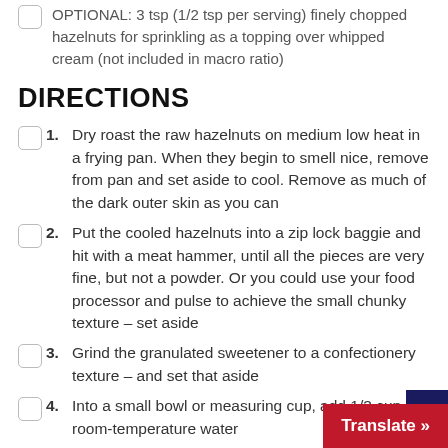OPTIONAL: 3 tsp (1/2 tsp per serving) finely chopped hazelnuts for sprinkling as a topping over whipped cream (not included in macro ratio)
DIRECTIONS
1. Dry roast the raw hazelnuts on medium low heat in a frying pan. When they begin to smell nice, remove from pan and set aside to cool. Remove as much of the dark outer skin as you can
2. Put the cooled hazelnuts into a zip lock baggie and hit with a meat hammer, until all the pieces are very fine, but not a powder. Or you could use your food processor and pulse to achieve the small chunky texture – set aside
3. Grind the granulated sweetener to a confectionery texture – and set that aside
4. Into a small bowl or measuring cup, add 1/3 cup of room-temperature water
5. Place this bowl or measuring cup in…